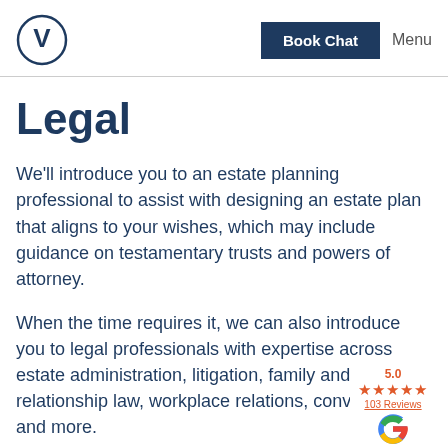Book Chat  Menu
Legal
We'll introduce you to an estate planning professional to assist with designing an estate plan that aligns to your wishes, which may include guidance on testamentary trusts and powers of attorney.
When the time requires it, we can also introduce you to legal professionals with expertise across estate adminis... litigation, family and relationship... workplace relations, conveyancing and more.
[Figure (logo): Google review badge showing 5.0 rating with 5 red stars and 103 Reviews]